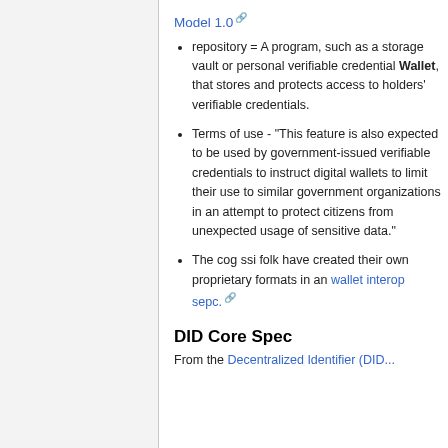Model 1.0 [external link]
repository = A program, such as a storage vault or personal verifiable credential Wallet, that stores and protects access to holders' verifiable credentials.
Terms of use - "This feature is also expected to be used by government-issued verifiable credentials to instruct digital wallets to limit their use to similar government organizations in an attempt to protect citizens from unexpected usage of sensitive data."
The cog ssi folk have created their own proprietary formats in an wallet interop sepc. [external link]
DID Core Spec
From the Decentralized Identifier (DID...)